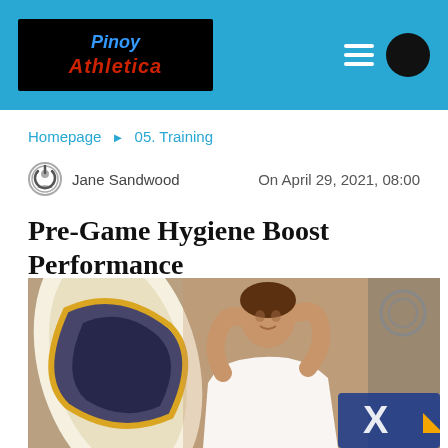Pinoy Athletica
Homepage ▶ 05. Training
Jane Sandwood   On April 29, 2021, 08:00
Pre-Game Hygiene Boost Performance
[Figure (photo): Woman in white top with hands behind head, standing in front of a surfboard with decorative artwork]